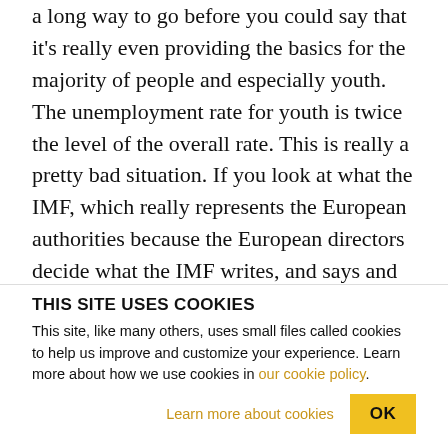a long way to go before you could say that it's really even providing the basics for the majority of people and especially youth. The unemployment rate for youth is twice the level of the overall rate. This is really a pretty bad situation. If you look at what the IMF, which really represents the European authorities because the European directors decide what the IMF writes, and says and recommends for Spain. If you look at what they're saying, they want more austerity. They're very worried about maintaining and increasing the so-called structural
THIS SITE USES COOKIES
This site, like many others, uses small files called cookies to help us improve and customize your experience. Learn more about how we use cookies in our cookie policy.
Learn more about cookies
OK